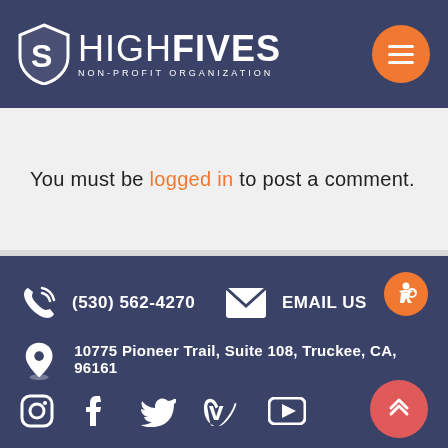[Figure (logo): High Fives Non-Profit Organization logo with shield icon and hamburger menu button]
You must be logged in to post a comment.
(530) 562-4270 | EMAIL US | 10775 Pioneer Trail, Suite 108, Truckee, CA, 96161 | Social icons: Instagram, Facebook, Twitter, Vimeo, YouTube